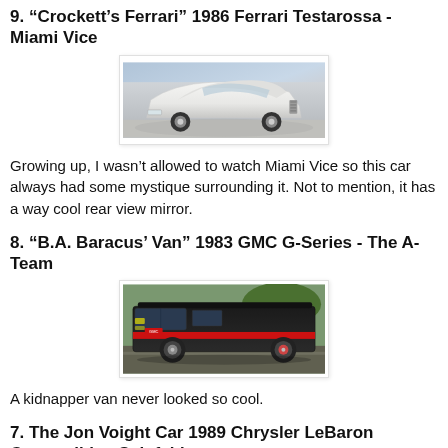9. "Crockett's Ferrari" 1986 Ferrari Testarossa - Miami Vice
[Figure (photo): White 1986 Ferrari Testarossa, front three-quarter view]
Growing up, I wasn't allowed to watch Miami Vice so this car always had some mystique surrounding it. Not to mention, it has a way cool rear view mirror.
8. "B.A. Baracus' Van" 1983 GMC G-Series - The A-Team
[Figure (photo): Black 1983 GMC G-Series van with red stripe, The A-Team]
A kidnapper van never looked so cool.
7. The Jon Voight Car 1989 Chrysler LeBaron Convertible - Seinfeld